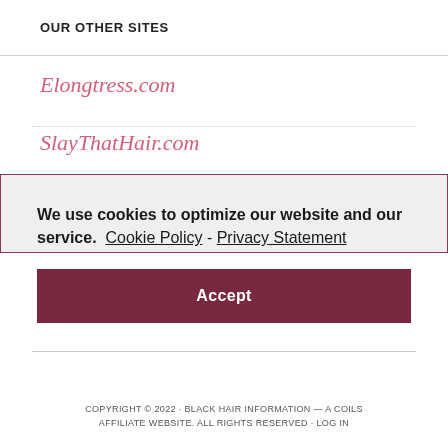OUR OTHER SITES
Elongtress.com
SlayThatHair.com
We use cookies to optimize our website and our service.  Cookie Policy - Privacy Statement
Accept
COPYRIGHT © 2022 · BLACK HAIR INFORMATION — A COILS AFFILIATE WEBSITE. ALL RIGHTS RESERVED · LOG IN